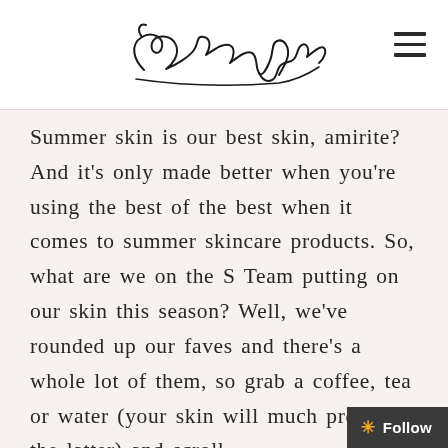Sasha Exeter [logo/signature]
Summer skin is our best skin, amirite? And it's only made better when you're using the best of the best when it comes to summer skincare products. So, what are we on the S Team putting on our skin this season? Well, we've rounded up our faves and there's a whole lot of them, so grab a coffee, tea or water (your skin will much prefer the latter) and scroll